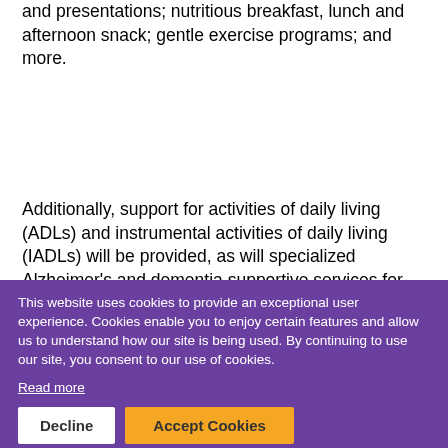and presentations; nutritious breakfast, lunch and afternoon snack; gentle exercise programs; and more.
Additionally, support for activities of daily living (ADLs) and instrumental activities of daily living (IADLs) will be provided, as will specialized Alzheimer's and dementia supportive services for clients and their family caregivers.
To accommodate community and program requests, Extended hours ...sessions. Morning sessions will be held between 8am and noon, and afternoon sessions will be held between 12pm and 5pm.
[Figure (screenshot): Cookie consent overlay banner in purple, with text: 'This website uses cookies to provide an exceptional user experience. Cookies enable you to enjoy certain features and allow us to understand how our site is being used. By continuing to use our site, you consent to our use of cookies.' With Read more link, Decline button, and Accept Cookies button.]
The one hour break between sessions will enable